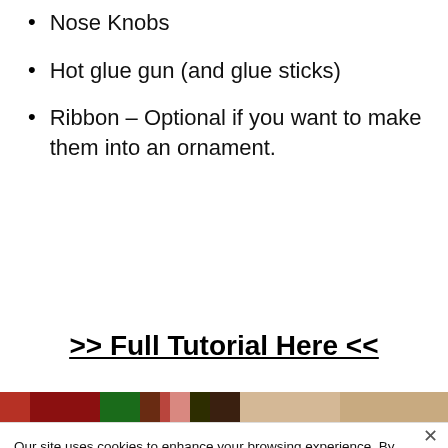Nose Knobs
Hot glue gun (and glue sticks)
Ribbon – Optional if you want to make them into an ornament.
>> Full Tutorial Here <<
[Figure (photo): Partial image strip showing colorful craft items (red, green, beige tones)]
Our site uses cookies to enhance your browsing experience. By clicking "Accept All", you consent to our use of cookies. Read More
Accept All
Customize
Reject All